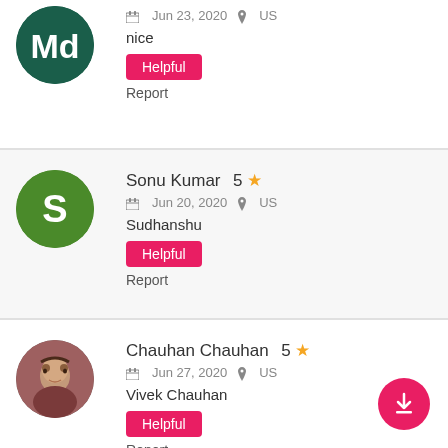[Figure (other): User avatar: dark green circle with white letters 'Md']
Jun 23, 2020   US
nice
Helpful
Report
[Figure (other): User avatar: green circle with white letter 'S']
Sonu Kumar   5 ★
Jun 20, 2020   US
Sudhanshu
Helpful
Report
[Figure (photo): User avatar: circular photo of a person (Vivek Chauhan)]
Chauhan Chauhan   5 ★
Jun 27, 2020   US
Vivek Chauhan
Helpful
Report